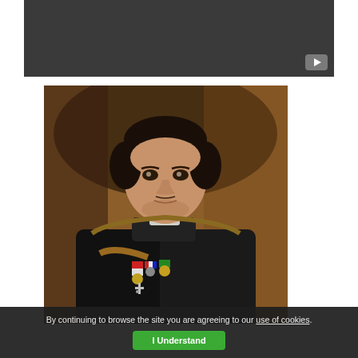[Figure (screenshot): Dark gray/charcoal video player area with a small play button icon in the bottom right corner]
[Figure (photo): Oil painting portrait of a young military officer in dark uniform with medals and decorations on his chest, set against a warm brown background]
By continuing to browse the site you are agreeing to our use of cookies.
I Understand